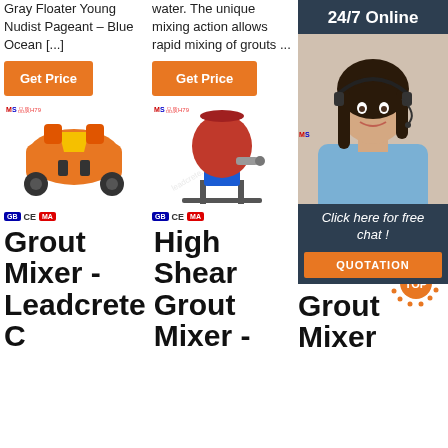Gray Floater Young Nudist Pageant – Blue Ocean [...]
water. The unique mixing action allows rapid mixing of grouts ...
[Figure (other): Orange grout mixer machine product image with brand logo and watermark]
[Figure (other): Red high shear grout mixer machine product image with brand logo]
[Figure (other): Colloidal grout mixer machine product image (partially obscured by ad), with TOP icon overlay]
[Figure (illustration): 24/7 Online chat advertisement banner with photo of woman with headset. Includes 'Click here for free chat!' text and QUOTATION button]
Grout Mixer - Leadcrete C
High Shear Grout Mixer -
Colloidal Grout Mixer